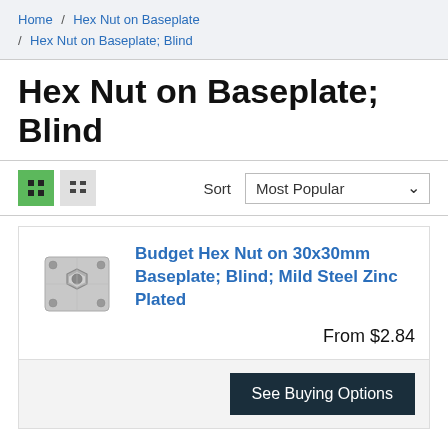Home / Hex Nut on Baseplate / Hex Nut on Baseplate; Blind
Hex Nut on Baseplate; Blind
Sort  Most Popular
[Figure (photo): Photo of a hex nut on a 30x30mm square baseplate, zinc plated, viewed from above at slight angle]
Budget Hex Nut on 30x30mm Baseplate; Blind; Mild Steel Zinc Plated
From $2.84
See Buying Options